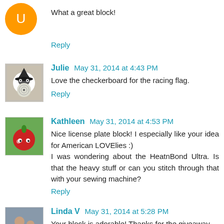What a great block!
Reply
Julie May 31, 2014 at 4:43 PM
Love the checkerboard for the racing flag.
Reply
Kathleen May 31, 2014 at 4:53 PM
Nice license plate block! I especially like your idea for American LOVElies :)
I was wondering about the HeatnBond Ultra. Is that the heavy stuff or can you stitch through that with your sewing machine?
Reply
Linda V May 31, 2014 at 5:28 PM
Your block is adorable! Thanks for the giveaway.